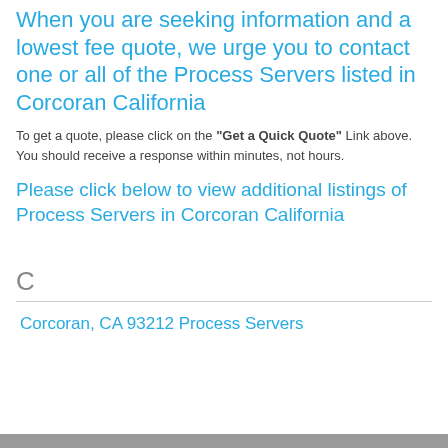When you are seeking information and a lowest fee quote, we urge you to contact one or all of the Process Servers listed in Corcoran California
To get a quote, please click on the "Get a Quick Quote" Link above. You should receive a response within minutes, not hours.
Please click below to view additional listings of Process Servers in Corcoran California
C
Corcoran, CA 93212 Process Servers